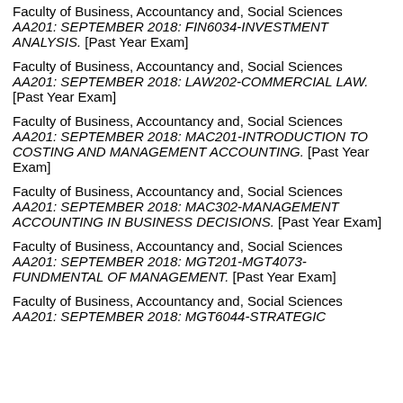Faculty of Business, Accountancy and, Social Sciences AA201: SEPTEMBER 2018: FIN6034-INVESTMENT ANALYSIS. [Past Year Exam]
Faculty of Business, Accountancy and, Social Sciences AA201: SEPTEMBER 2018: LAW202-COMMERCIAL LAW. [Past Year Exam]
Faculty of Business, Accountancy and, Social Sciences AA201: SEPTEMBER 2018: MAC201-INTRODUCTION TO COSTING AND MANAGEMENT ACCOUNTING. [Past Year Exam]
Faculty of Business, Accountancy and, Social Sciences AA201: SEPTEMBER 2018: MAC302-MANAGEMENT ACCOUNTING IN BUSINESS DECISIONS. [Past Year Exam]
Faculty of Business, Accountancy and, Social Sciences AA201: SEPTEMBER 2018: MGT201-MGT4073-FUNDMENTAL OF MANAGEMENT. [Past Year Exam]
Faculty of Business, Accountancy and, Social Sciences AA201: SEPTEMBER 2018: MGT6044-STRATEGIC